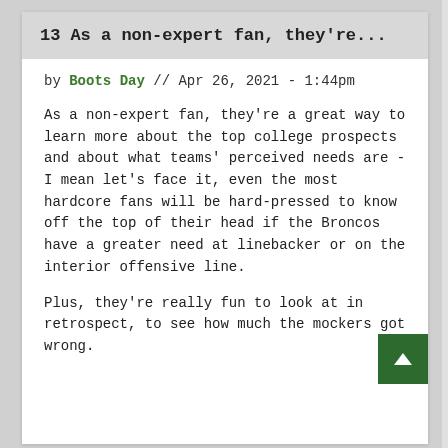13   As a non-expert fan, they're...
by Boots Day // Apr 26, 2021 - 1:44pm
As a non-expert fan, they're a great way to learn more about the top college prospects and about what teams' perceived needs are - I mean let's face it, even the most hardcore fans will be hard-pressed to know off the top of their head if the Broncos have a greater need at linebacker or on the interior offensive line.
Plus, they're really fun to look at in retrospect, to see how much the mockers got wrong.